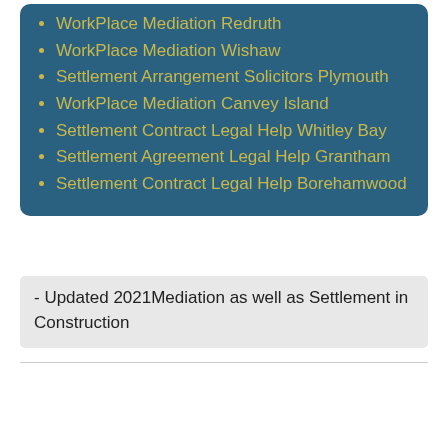WorkPlace Mediation Redruth
WorkPlace Mediation Wishaw
Settlement Arrangement Solicitors Plymouth
WorkPlace Mediation Canvey Island
Settlement Contract Legal Help Whitley Bay
Settlement Agreement Legal Help Grantham
Settlement Contract Legal Help Borehamwood
- Updated 2021Mediation as well as Settlement in Construction